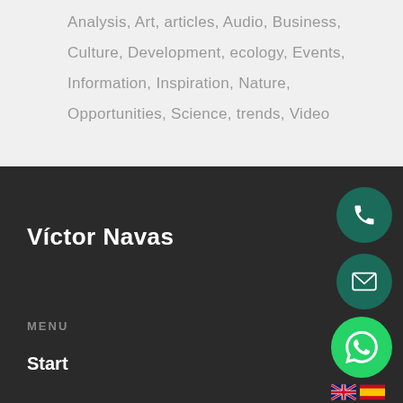Analysis, Art, articles, Audio, Business, Culture, Development, ecology, Events, Information, Inspiration, Nature, Opportunities, Science, trends, Video
Víctor Navas
MENU
Start